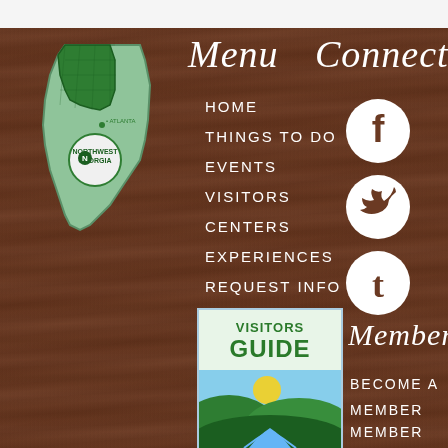[Figure (logo): Northwest Georgia logo with state map outline, green fill, showing Atlanta marker and Northwest Georgia label]
Menu
Connect
HOME
THINGS TO DO
EVENTS
VISITORS
CENTERS
EXPERIENCES
REQUEST INFO
[Figure (illustration): Social media icons: Facebook, Twitter, Tumblr — white circles with brown logos]
[Figure (illustration): Visitors Guide booklet cover with landscape illustration of mountains, sun, and river]
Members
BECOME A
MEMBER
MEMBER